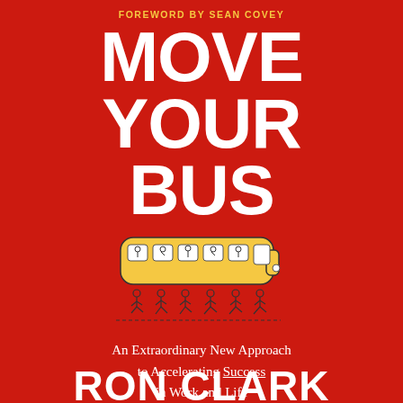FOREWORD BY SEAN COVEY
MOVE YOUR BUS
[Figure (illustration): A cartoon yellow bus carried by stick-figure people running underneath it, with various characters visible through the bus windows.]
An Extraordinary New Approach to Accelerating Success in Work and Life
RON CLARK